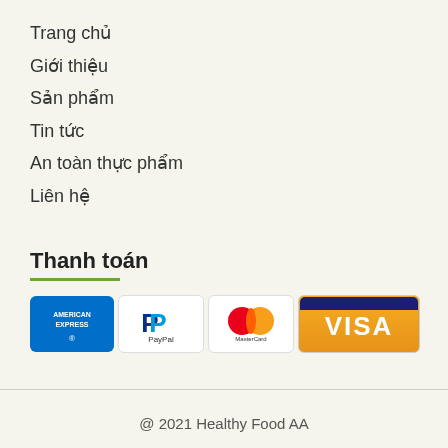Trang chủ
Giới thiệu
Sản phẩm
Tin tức
An toàn thực phẩm
Liên hệ
Thanh toán
[Figure (logo): Payment method logos: American Express, PayPal, MasterCard, Visa]
@ 2021 Healthy Food AA